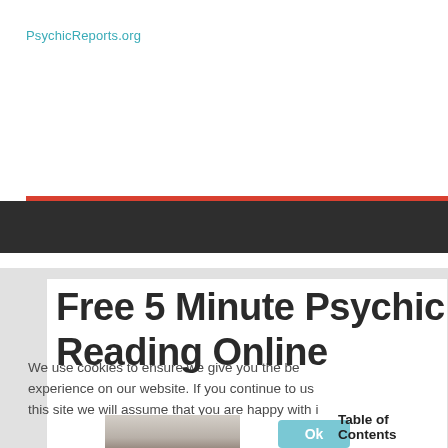PsychicReports.org
Free 5 Minute Psychic Reading Online
We use cookies to ensure we give you the best experience on our website. If you continue to use this site we will assume that you are happy with it
Ok
Table of Contents